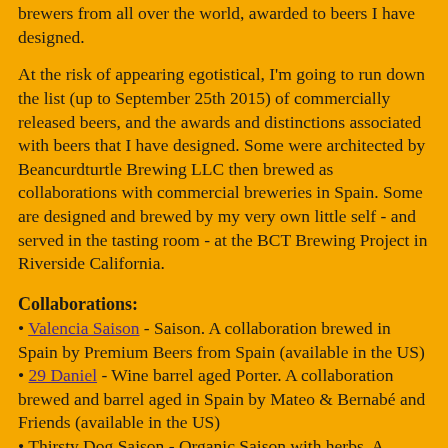brewers from all over the world, awarded to beers I have designed.
At the risk of appearing egotistical, I'm going to run down the list (up to September 25th 2015) of commercially released beers, and the awards and distinctions associated with beers that I have designed. Some were architected by Beancurdturtle Brewing LLC then brewed as collaborations with commercial breweries in Spain. Some are designed and brewed by my very own little self - and served in the tasting room - at the BCT Brewing Project in Riverside California.
Collaborations:
• Valencia Saison - Saison. A collaboration brewed in Spain by Premium Beers from Spain (available in the US)
• 29 Daniel - Wine barrel aged Porter. A collaboration brewed and barrel aged in Spain by Mateo & Bernabé and Friends (available in the US)
• Thirsty Dog Saison - Organic Saison with herbs. A collaboration brewed in Islas Canarias by Tierra De Perros
• Parking Beer C Murciélago - Imperial IPA. A collaboration brewed in Spain with Mateo & Bernabé and Friends
• Parking Beer C Pelícano - White IPA. A collaboration brewed in Spain with Mateo & Bernabé and Friends
• Café Olé - Coffee Porter. A collaboration brewed in Spain with Cerveses Spigha
• [partial] - A collaboration brewed in Spain with...